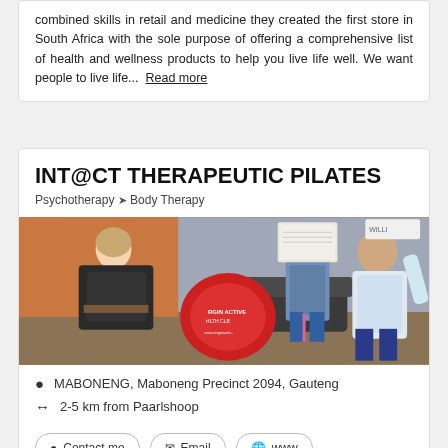combined skills in retail and medicine they created the first store in South Africa with the sole purpose of offering a comprehensive list of health and wellness products to help you live life well. We want people to live life... Read more
INT@CT THERAPEUTIC PILATES
Psychotherapy > Body Therapy
[Figure (photo): Photo of people doing body therapy or pilates exercises indoors, with a red Virgin Active Health Club branded bag/prop visible in the center of the image.]
MABONENG, Maboneng Precinct 2094, Gauteng
2-5 km from Paarlshoop
Contact me  Email  www